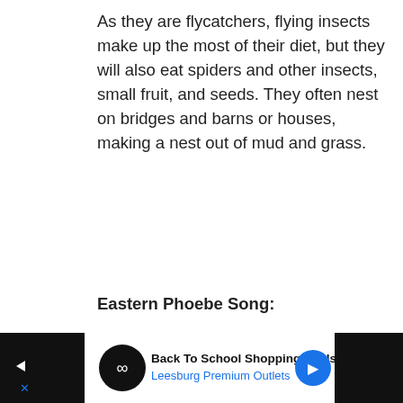As they are flycatchers, flying insects make up the most of their diet, but they will also eat spiders and other insects, small fruit, and seeds. They often nest on bridges and barns or houses, making a nest out of mud and grass.
Eastern Phoebe Song:
[Figure (illustration): Purple advertisement banner reading CHANGE LIVES with images of two cats (one orange, one black) and a heart icon, with a close X button in top right corner.]
[Figure (other): Scroll-to-top grey button with up caret and favourite (heart) blue circle button and share icon button.]
[Figure (other): Bottom advertisement bar: black on left, white section with circular black icon with infinity/loop symbol, text Back To School Shopping Deals and Leesburg Premium Outlets in blue, blue circle arrow on right, play and X controls.]